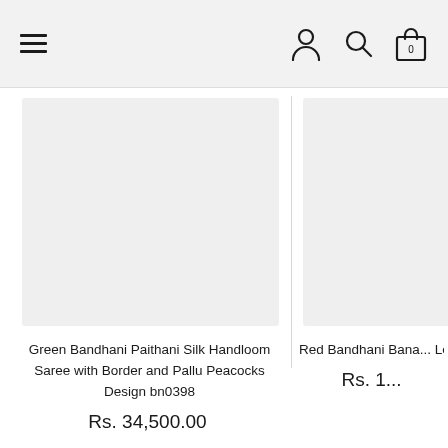Navigation header with hamburger menu, user icon, search icon, and shopping bag with 0 items
[Figure (photo): Product image placeholder for Green Bandhani Paithani Silk Handloom Saree - light grey rectangle]
Green Bandhani Paithani Silk Handloom Saree with Border and Pallu Peacocks Design bn0398
Rs. 34,500.00
[Figure (photo): Product image placeholder for Red Bandhani Bana... Leaves D... - light grey rectangle (partially cropped)]
Red Bandhani Bana... Leaves D...
Rs. 1...